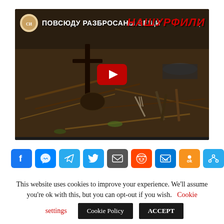[Figure (screenshot): YouTube video thumbnail showing scattered rusty items and tools on the ground in a forest setting. Russian text 'ПОВСЮДУ РАЗБРОСАНЫ ВЕЩИ' (Things scattered everywhere) in white at top, red stylized text 'НАШУРФИЛИ' overlaid. Red YouTube play button in center. Channel logo circle top left.]
[Figure (infographic): Row of social media sharing icons: Facebook, Messenger, Telegram, Twitter, Email, Reddit, Outlook, Odnoklassniki, Copy Link]
This website uses cookies to improve your experience. We'll assume you're ok with this, but you can opt-out if you wish. Cookie settings Cookie Policy ACCEPT